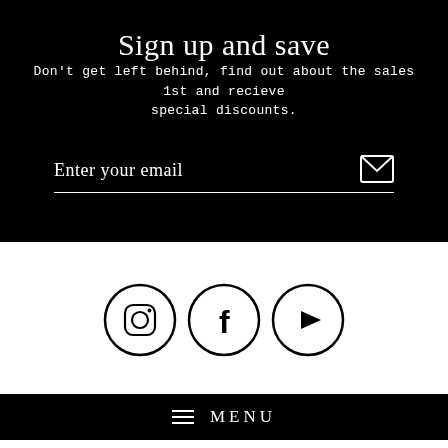Sign up and save
Don't get left behind, find out about the sales 1st and recieve special discounts.
Enter your email
[Figure (infographic): Social media icons: Instagram, Facebook, YouTube in circular outlines]
MENU
Terms & Conditions